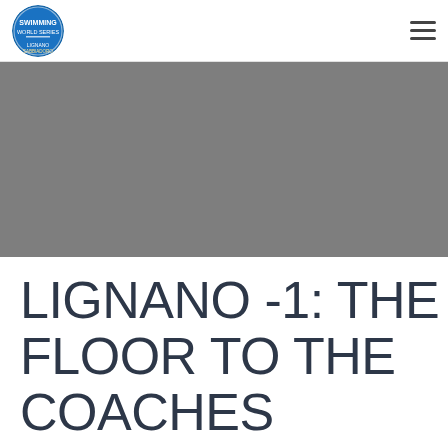Swimming World Series - Lignano Sabbiadoro
[Figure (photo): Gray hero banner image for swimming event website]
LIGNANO -1: THE FLOOR TO THE COACHES